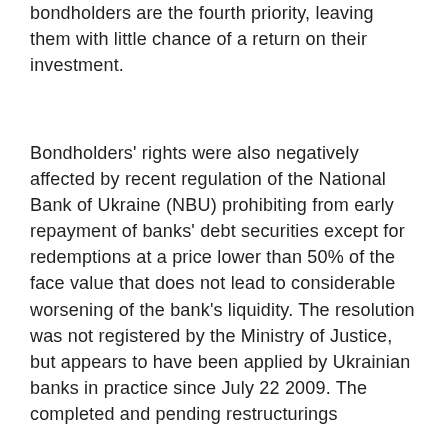bondholders are the fourth priority, leaving them with little chance of a return on their investment.
Bondholders' rights were also negatively affected by recent regulation of the National Bank of Ukraine (NBU) prohibiting from early repayment of banks' debt securities except for redemptions at a price lower than 50% of the face value that does not lead to considerable worsening of the bank's liquidity. The resolution was not registered by the Ministry of Justice, but appears to have been applied by Ukrainian banks in practice since July 22 2009. The completed and pending restructurings